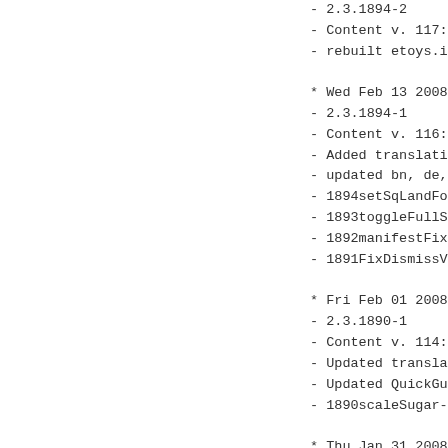- 2.3.1894-2
- Content v. 117:
- rebuilt etoys.image
* Wed Feb 13 2008 Bert Freudenberg <bert
- 2.3.1894-1
- Content v. 116:
- Added translations: ru, ps
- updated bn, de, el, es, fr, it, ja, pt
- 1894setSqLandFont-yo
- 1893toggleFullScrn3and13: toggle fulls
- 1892manifestFixHack-yo: A workaround o
- 1891FixDismissViaSel-yo: Clean up bloc
* Fri Feb 01 2008 Bert Freudenberg <bert
- 2.3.1890-1
- Content v. 114:
- Updated translations: es, de
- Updated QuickGuides
- 1890scaleSugar-bf: enable screen scali
* Thu Jan 31 2008 Bert Freudenberg <bert
- 2.3.1889-1
- Content v. 111: